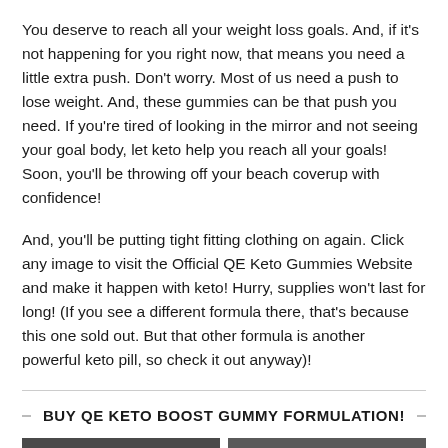You deserve to reach all your weight loss goals. And, if it's not happening for you right now, that means you need a little extra push. Don't worry. Most of us need a push to lose weight. And, these gummies can be that push you need. If you're tired of looking in the mirror and not seeing your goal body, let keto help you reach all your goals! Soon, you'll be throwing off your beach coverup with confidence!
And, you'll be putting tight fitting clothing on again. Click any image to visit the Official QE Keto Gummies Website and make it happen with keto! Hurry, supplies won't last for long! (If you see a different formula there, that's because this one sold out. But that other formula is another powerful keto pill, so check it out anyway)!
BUY QE KETO BOOST GUMMY FORMULATION!
[Figure (photo): Two side-by-side images partially visible at bottom of page, dark/nature themed]